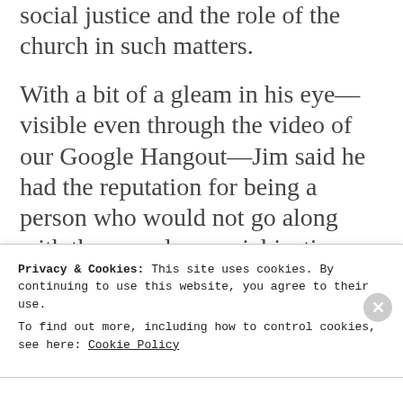social justice and the role of the church in such matters.
With a bit of a gleam in his eye—visible even through the video of our Google Hangout—Jim said he had the reputation for being a person who would not go along with the crowd on social justice issue. Then he asked, rhetorically, “Where did I develop that
Privacy & Cookies: This site uses cookies. By continuing to use this website, you agree to their use.
To find out more, including how to control cookies, see here: Cookie Policy
Close and accept